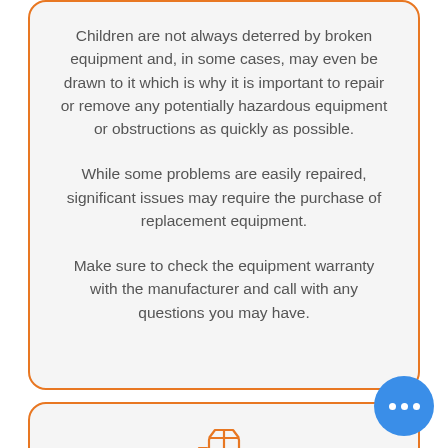Children are not always deterred by broken equipment and, in some cases, may even be drawn to it which is why it is important to repair or remove any potentially hazardous equipment or obstructions as quickly as possible.
While some problems are easily repaired, significant issues may require the purchase of replacement equipment.
Make sure to check the equipment warranty with the manufacturer and call with any questions you may have.
[Figure (illustration): Orange delivery box icon with motion lines]
Replace
Just because something is broken doesn't mean you must replace it with a new one.